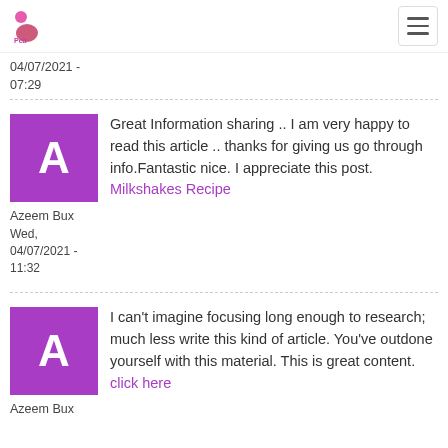Pea Bop Shop logo + hamburger menu
04/07/2021 - 07:29
Great Information sharing .. I am very happy to read this article .. thanks for giving us go through info.Fantastic nice. I appreciate this post. Milkshakes Recipe
Azeem Bux
Wed, 04/07/2021 - 11:32
I can't imagine focusing long enough to research; much less write this kind of article. You've outdone yourself with this material. This is great content. click here
Azeem Bux